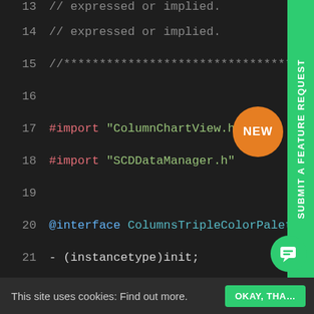[Figure (screenshot): Code editor screenshot showing Objective-C source code with line numbers 13-32, dark theme, green sidebar with 'SUBMIT A FEATURE REQUEST' text, orange NEW badge, green Contact Sales button, chat icon, and cookie consent bar at bottom.]